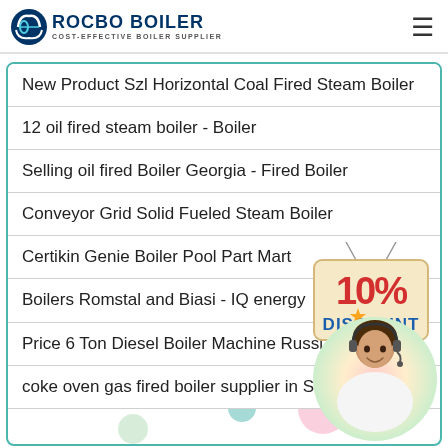ROCBO BOILER - COST-EFFECTIVE BOILER SUPPLIER
New Product Szl Horizontal Coal Fired Steam Boiler
12 oil fired steam boiler - Boiler
Selling oil fired Boiler Georgia - Fired Boiler
Conveyor Grid Solid Fueled Steam Boiler
Certikin Genie Boiler Pool Part Mart
Boilers Romstal and Biasi - IQ energy
Price 6 Ton Diesel Boiler Machine Russi…
coke oven gas fired boiler supplier in Sen…
[Figure (infographic): 10% DISCOUNT badge — a hanging sign with rope, beige background, red text '10%' and blue text 'DISCOUNT' with a star emblem]
[Figure (photo): Customer service representative wearing headset, smiling, in a circular crop with pink/yellow/green gradient background]